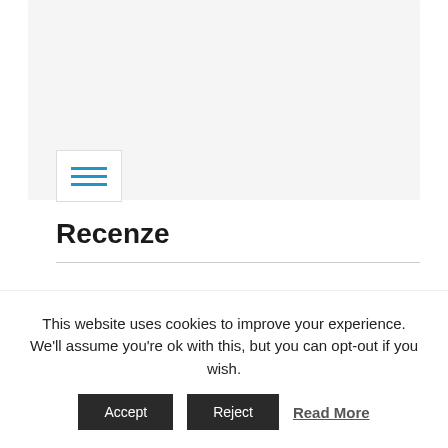[Figure (screenshot): Light grey card/hero area at the top of a webpage]
[Figure (other): Hamburger menu icon box with three blue horizontal lines on white background with border]
Recenze
Vyhledávání...
This website uses cookies to improve your experience. We'll assume you're ok with this, but you can opt-out if you wish.
Accept  Reject  Read More